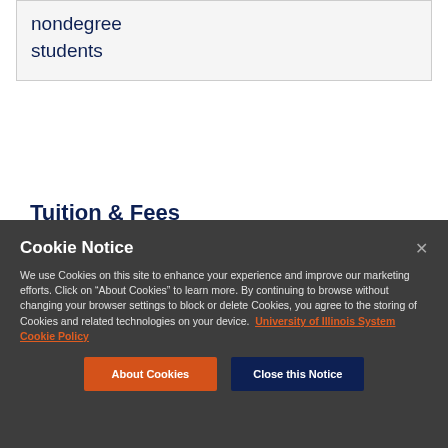| nondegree students |
Tuition & Fees
We use Cookies on this site to enhance your experience and improve our marketing efforts. Click on “About Cookies” to learn more. By continuing to browse without changing your browser settings to block or delete Cookies, you agree to the storing of Cookies and related technologies on your device. University of Illinois System Cookie Policy
Cookie Notice